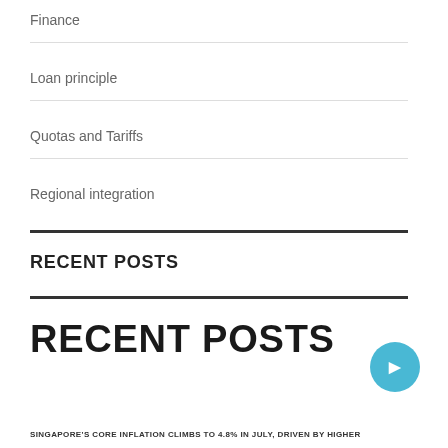Finance
Loan principle
Quotas and Tariffs
Regional integration
RECENT POSTS
RECENT POSTS
SINGAPORE'S CORE INFLATION CLIMBS TO 4.8% IN JULY, DRIVEN BY HIGHER